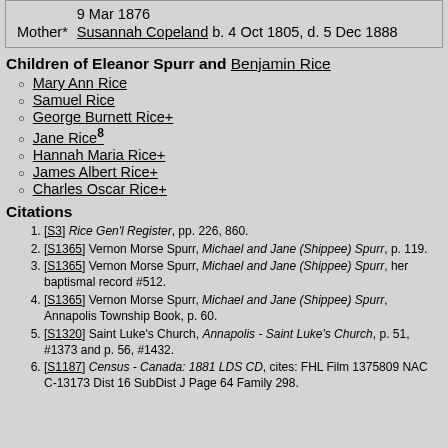|  | 9 Mar 1876 |
| Mother* | Susannah Copeland b. 4 Oct 1805, d. 5 Dec 1888 |
Children of Eleanor Spurr and Benjamin Rice
Mary Ann Rice
Samuel Rice
George Burnett Rice+
Jane Rice8
Hannah Maria Rice+
James Albert Rice+
Charles Oscar Rice+
Citations
[S3] Rice Gen'l Register, pp. 226, 860.
[S1365] Vernon Morse Spurr, Michael and Jane (Shippee) Spurr, p. 119.
[S1365] Vernon Morse Spurr, Michael and Jane (Shippee) Spurr, her baptismal record #512.
[S1365] Vernon Morse Spurr, Michael and Jane (Shippee) Spurr, Annapolis Township Book, p. 60.
[S1320] Saint Luke's Church, Annapolis - Saint Luke's Church, p. 51, #1373 and p. 56, #1432.
[S1187] Census - Canada: 1881 LDS CD, cites: FHL Film 1375809 NAC C-13173 Dist 16 SubDist J Page 64 Family 298.